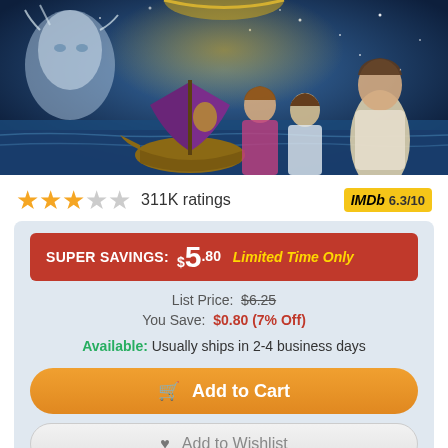[Figure (photo): Movie poster for a fantasy film showing characters including a woman, a ship with purple sail, and actors against a night sky background]
★★★☆☆ 311K ratings   IMDb 6.3/10
SUPER SAVINGS: $5.80  Limited Time Only
List Price: $6.25
You Save: $0.80 (7% Off)
Available: Usually ships in 2-4 business days
Add to Cart
Add to Wishlist